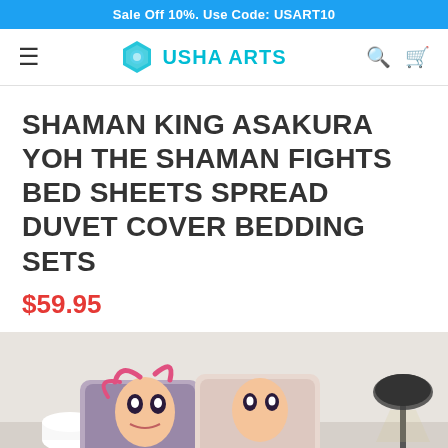Sale Off 10%. Use Code: USART10
[Figure (logo): Usha Arts logo with hexagon icon and teal text]
SHAMAN KING ASAKURA YOH THE SHAMAN FIGHTS BED SHEETS SPREAD DUVET COVER BEDDING SETS
$59.95
[Figure (photo): Product photo showing anime-themed pillows and bedding set on a white bed with a lamp in the background]